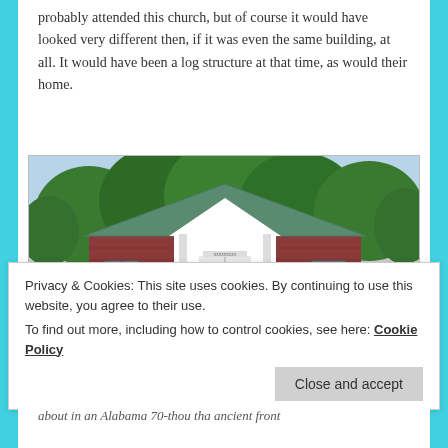probably attended this church, but of course it would have looked very different then, if it was even the same building, at all. It would have been a log structure at that time, as would their home.
[Figure (photo): Photo of a small brick church building with a white gabled entrance portico, white double doors, steps leading up to the entrance, and large trees in the background. The roof has a green metal covering.]
Privacy & Cookies: This site uses cookies. By continuing to use this website, you agree to their use.
To find out more, including how to control cookies, see here: Cookie Policy